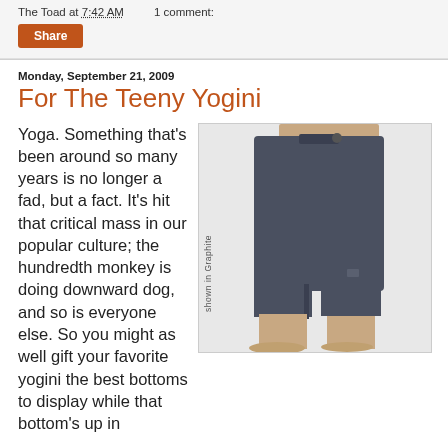The Toad at 7:42 AM   1 comment:
Share
Monday, September 21, 2009
For The Teeny Yogini
[Figure (photo): Person's lower body wearing dark graphite-colored yoga/capri pants, shown from the waist down, barefoot. Label reads 'shown in Graphite'.]
Yoga. Something that's been around so many years is no longer a fad, but a fact. It's hit that critical mass in our popular culture; the hundredth monkey is doing downward dog, and so is everyone else. So you might as well gift your favorite yogini the best bottoms to display while that bottom's up in